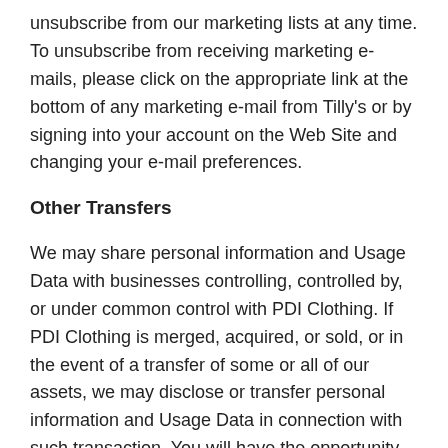unsubscribe from our marketing lists at any time. To unsubscribe from receiving marketing e-mails, please click on the appropriate link at the bottom of any marketing e-mail from Tilly's or by signing into your account on the Web Site and changing your e-mail preferences.
Other Transfers
We may share personal information and Usage Data with businesses controlling, controlled by, or under common control with PDI Clothing. If PDI Clothing is merged, acquired, or sold, or in the event of a transfer of some or all of our assets, we may disclose or transfer personal information and Usage Data in connection with such transaction. You will have the opportunity to opt out of any such transfer if, in our discretion, the new entity plans to handle your information in a way that differs materially from this Privacy Policy.